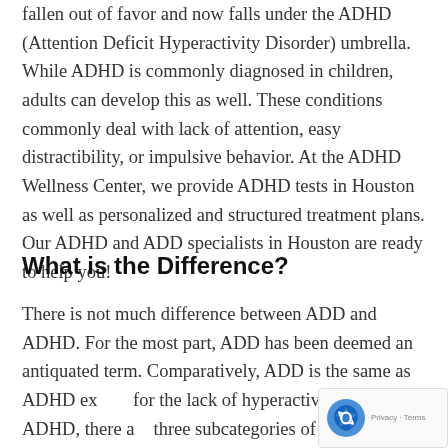fallen out of favor and now falls under the ADHD (Attention Deficit Hyperactivity Disorder) umbrella. While ADHD is commonly diagnosed in children, adults can develop this as well. These conditions commonly deal with lack of attention, easy distractibility, or impulsive behavior. At the ADHD Wellness Center, we provide ADHD tests in Houston as well as personalized and structured treatment plans. Our ADHD and ADD specialists in Houston are ready to help you!
What is the Difference?
There is not much difference between ADD and ADHD. For the most part, ADD has been deemed an antiquated term. Comparatively, ADD is the same as ADHD except for the lack of hyperactivity. As for ADHD, there are three subcategories of ADHD. First is inattentiveness